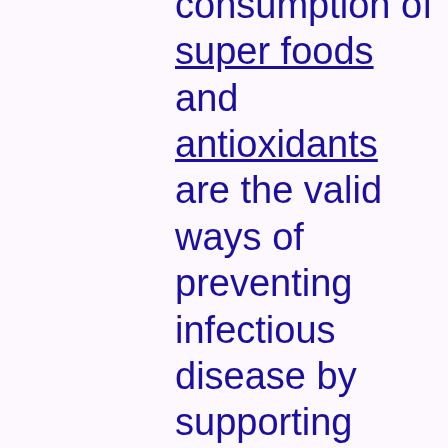consumption of super foods and antioxidants are the valid ways of preventing infectious disease by supporting healthy tissues throughout the body.

If assistance is needed to hold off or stop the action of